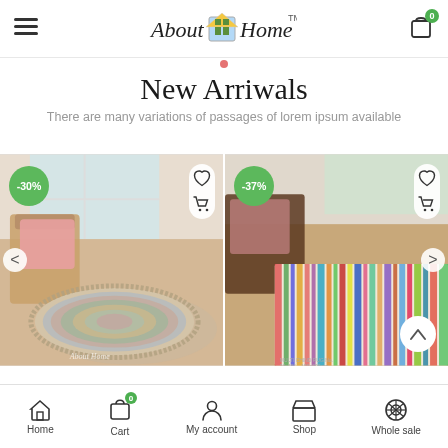About Home
New Arriwals
There are many variations of passages of lorem ipsum available
[Figure (photo): Two product photos side by side: left shows a round multicolor fringed rug on hardwood floor with wicker chair and pink throw; right shows a multicolor striped runner rug on hardwood floor with rocking chair. Each has a green discount badge (-30% and -37%) and heart/cart action buttons.]
Home  Cart  My account  Shop  Whole sale